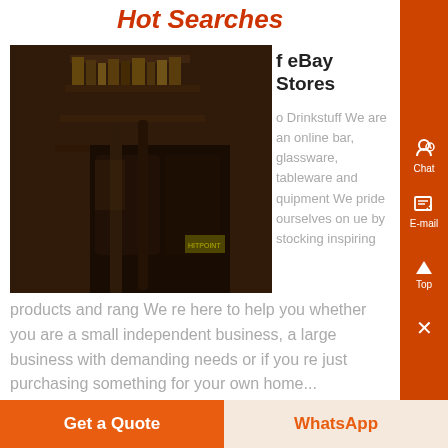Hot Searches
[Figure (photo): Dark interior photo of what appears to be a bar or storage area with bottles and shelving]
f eBay Stores
o Drinkstuff We are an online bar, glassware, tableware and quipment We pride ourselves on ue by stocking inspiring products and rang We re here to help you whether you are a small independent business, a large business with demanding needs or if you re just purchasing something for your own home...
Know More
Get a Quote | WhatsApp